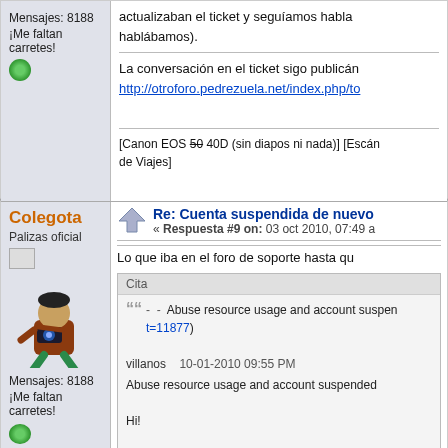Mensajes: 8188
¡Me faltan carretes!
actualizaban el ticket y seguíamos hablábamos).
La conversación en el ticket sigo publicán http://otroforo.pedrezuela.net/index.php/to
[Canon EOS 50 40D (sin diapos ni nada)] [Escán de Viajes]
Colegota
Palizas oficial
Mensajes: 8188
¡Me faltan carretes!
Re: Cuenta suspendida de nuevo
« Respuesta #9 on: 03 oct 2010, 07:49 a
Lo que iba en el foro de soporte hasta qu
Cita
- - Abuse resource usage and account suspen t=11877)
villanos 10-01-2010 09:55 PM
Abuse resource usage and account suspended

Hi!

let me give a little background before explain my Last year has been like a nightmare due to almo seems that our WordPress installations needed